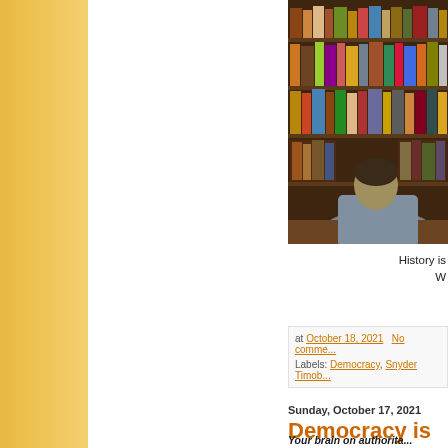[Figure (photo): Person sitting at a desk in front of a large wooden bookshelf filled with books, seen from behind/side angle]
History is
W
at October 18, 2021   No comme...
Labels: Democracy, Snyder Timob...
Sunday, October 17, 2021
Democracy is me...
Your brain on authorita...
The inside farce th...